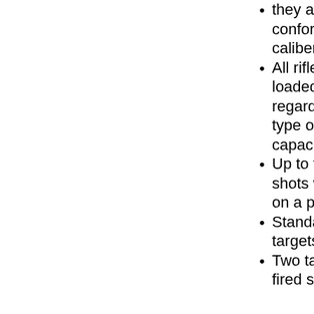they are safe and conform to the rules for caliber and sights
All rifles must be loaded as single shot regardless of action type or magazine capacity
Up to five warm-up shots will be allowed on a practice target
Standard NRA fifty-foot targets will be provided
Two targets will be fired slow fire, five